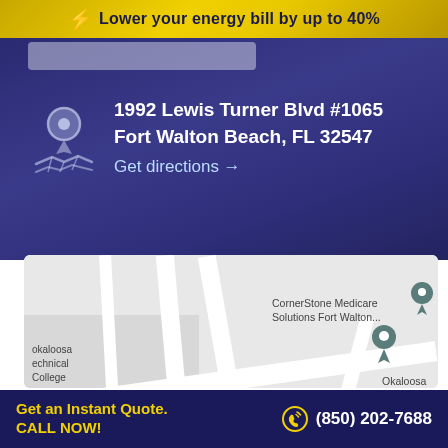⚡ Lower your energy bill by up to 40%
1992 Lewis Turner Blvd #1065
Fort Walton Beach, FL 32547
Get directions →
[Figure (map): Google Maps screenshot showing Lewis Turner Blvd area in Fort Walton Beach, FL. Shows Okaloosa Technical College, Okaloosa Outpatient Center, CornerStone Medicare Solutions Fort Walton..., GSS Gear FWB, and map pin markers. Street label Lewis Turner Blvd and Eldred visible.]
Get an Instant Quote. CALL NOW! (850) 202-7688